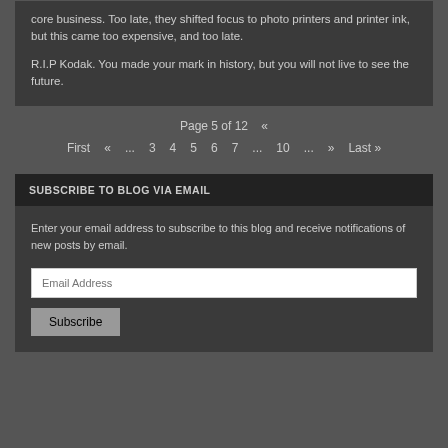core business. Too late, they shifted focus to photo printers and printer ink, but this came too expensive, and too late.
R.I.P Kodak. You made your mark in history, but you will not live to see the future.
Page 5 of 12  «  First  «  ...  3  4  5  6  7  ...  10  ...  »  Last »
SUBSCRIBE TO BLOG VIA EMAIL
Enter your email address to subscribe to this blog and receive notifications of new posts by email.
Email Address
Subscribe